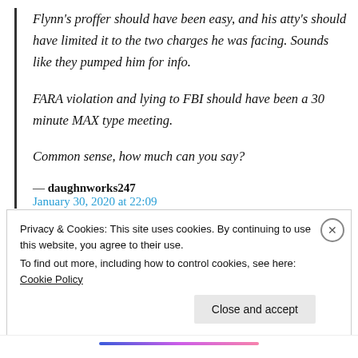Flynn's proffer should have been easy, and his atty's should have limited it to the two charges he was facing. Sounds like they pumped him for info.

FARA violation and lying to FBI should have been a 30 minute MAX type meeting.

Common sense, how much can you say?
— daughnworks247
January 30, 2020 at 22:09
Privacy & Cookies: This site uses cookies. By continuing to use this website, you agree to their use.
To find out more, including how to control cookies, see here: Cookie Policy
Close and accept